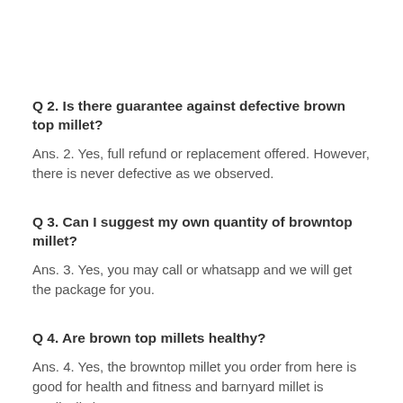Q 2. Is there guarantee against defective brown top millet?
Ans. 2. Yes, full refund or replacement offered. However, there is never defective as we observed.
Q 3. Can I suggest my own quantity of browntop millet?
Ans. 3. Yes, you may call or whatsapp and we will get the package for you.
Q 4. Are brown top millets healthy?
Ans. 4. Yes, the browntop millet you order from here is good for health and fitness and barnyard millet is medically known